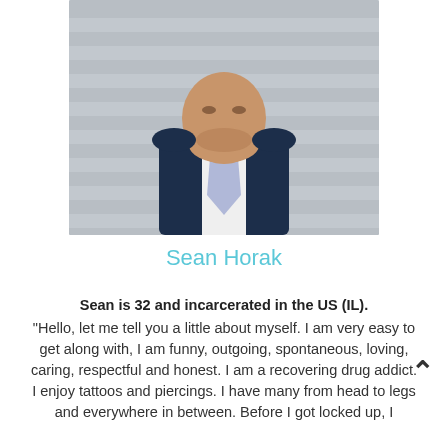[Figure (photo): Photo of Sean Horak, a man wearing a navy vest, white dress shirt, and light purple tie, standing in front of a gray siding background.]
Sean Horak
Sean is 32 and incarcerated in the US (IL). "Hello, let me tell you a little about myself. I am very easy to get along with, I am funny, outgoing, spontaneous, loving, caring, respectful and honest. I am a recovering drug addict. I enjoy tattoos and piercings. I have many from head to legs and everywhere in between. Before I got locked up, I